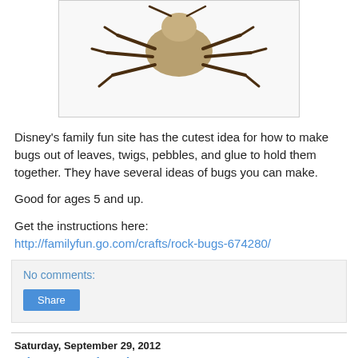[Figure (photo): Photo of a bug craft made from natural materials like pebbles, twigs, and leaves glued together, shown on a white background.]
Disney's family fun site has the cutest idea for how to make bugs out of leaves, twigs, pebbles, and glue to hold them together.  They have several ideas of bugs you can make.
Good for ages 5 and up.
Get the instructions here:
http://familyfun.go.com/crafts/rock-bugs-674280/
No comments:
Share
Saturday, September 29, 2012
Tin Punched Lantern